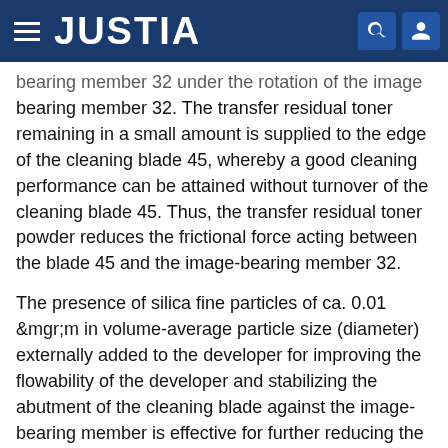JUSTIA
bearing member 32 under the rotation of the image bearing member 32. The transfer residual toner remaining in a small amount is supplied to the edge of the cleaning blade 45, whereby a good cleaning performance can be attained without turnover of the cleaning blade 45. Thus, the transfer residual toner powder reduces the frictional force acting between the blade 45 and the image-bearing member 32.
The presence of silica fine particles of ca. 0.01 &mgr;m in volume-average particle size (diameter) externally added to the developer for improving the flowability of the developer and stabilizing the abutment of the cleaning blade against the image-bearing member is effective for further reducing the abutting force acting at the abutting position.
However, as the amount of transfer residual toner